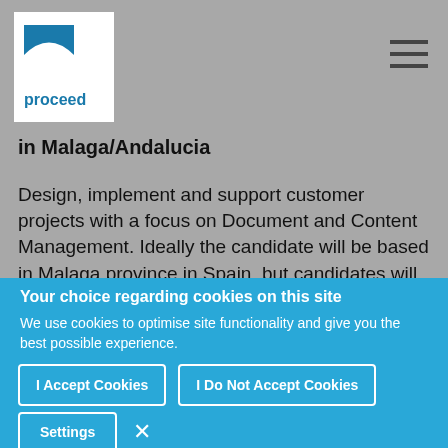[Figure (logo): Proceed company logo — white box with blue square shape on top and 'proceed' text below]
in Malaga/Andalucia
Design, implement and support customer projects with a focus on Document and Content Management. Ideally the candidate will be based in Malaga province in Spain, but candidates will from other areas in Spain will be considered. English proficiency C1 is mandatory. Primar...
Your choice regarding cookies on this site
We use cookies to optimise site functionality and give you the best possible experience.
I Accept Cookies
I Do Not Accept Cookies
Settings